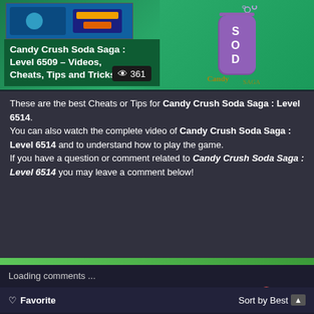[Figure (screenshot): Candy Crush Soda Saga game screenshot thumbnail at top left]
Candy Crush Soda Saga : Level 6509 – Videos, Cheats, Tips and Tricks
👁 361
[Figure (logo): Candy Crush Soda Saga logo with purple soda bottle]
These are the best Cheats or Tips for Candy Crush Soda Saga : Level 6514. You can also watch the complete video of Candy Crush Soda Saga : Level 6514 and to understand how to play the game. If you have a question or comment related to Candy Crush Soda Saga : Level 6514 you may leave a comment below!
Loading comments ...
Comments  Community  🔒  1  Login ▾
♡ Favorite  Sort by Best ▾